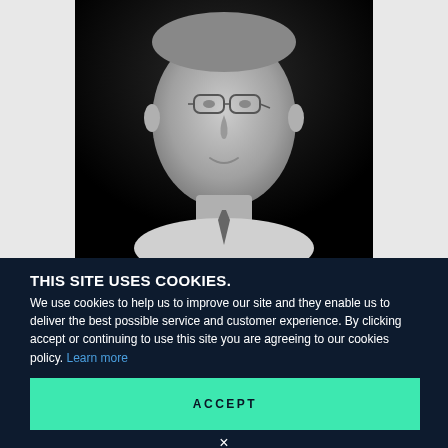[Figure (photo): Black and white portrait photo of a middle-aged man wearing glasses and a tie, against a dark background]
THIS SITE USES COOKIES.
We use cookies to help us to improve our site and they enable us to deliver the best possible service and customer experience. By clicking accept or continuing to use this site you are agreeing to our cookies policy. Learn more
ACCEPT
×